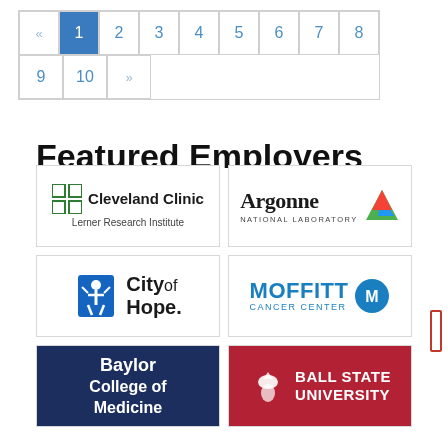[Figure (other): Pagination control showing pages 1-10 with page 1 highlighted in blue, left and right arrows]
Featured Employers
[Figure (logo): Cleveland Clinic Lerner Research Institute logo]
[Figure (logo): Argonne National Laboratory logo]
[Figure (logo): City of Hope logo]
[Figure (logo): Moffitt Cancer Center logo]
[Figure (logo): Baylor College of Medicine logo]
[Figure (logo): Ball State University logo]